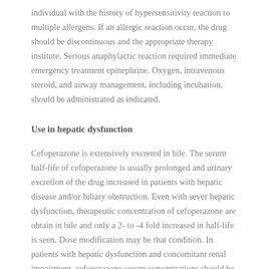individual with the history of hypersensitivity reaction to multiple allergens. If an allergic reaction occur, the drug should be discontinuous and the appropriate therapy institute. Serious anaphylactic reaction required immediate emergency treatment epinephrine. Oxygen, intravenous steroid, and airway management, including incubation, should be administrated as indicated.
Use in hepatic dysfunction
Cefoperazone is extensively excreted in bile. The serum half-life of cefoperazone is usually prolonged and urinary excretion of the drug increased in patients with hepatic disease and/or biliary obstruction. Even with sever hepatic dysfunction, therapeutic concentration of cefoperazone are obtain in bile and only a 2- to -4 fold increased in half-life is seen. Dose modification may be that condition. In patients with hepatic dysfunction and concomitant renal impairment, cefoperazone serum concentrations should be monitoring of serum concentrations.